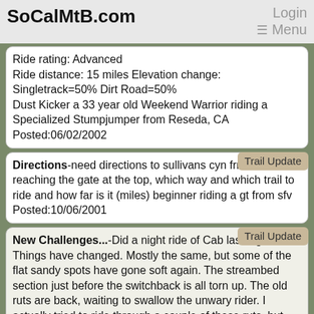SoCalMtB.com  Login  Menu
Ride rating: Advanced
Ride distance: 15 miles Elevation change:
Singletrack=50% Dirt Road=50%
Dust Kicker a 33 year old Weekend Warrior riding a Specialized Stumpjumper from Reseda, CA
Posted:06/02/2002
Directions-need directions to sullivans cyn frm here after reaching the gate at the top, which way and which trail to ride and how far is it (miles) beginner riding a gt from sfv
Posted:10/06/2001
New Challenges...-Did a night ride of Cab last night. Things have changed. Mostly the same, but some of the flat sandy spots have gone soft again. The streambed section just before the switchback is all torn up. The old ruts are back, waiting to swallow the unwary rider. I actually tried to ride through a couple of these ruts, but nearly fell over twice because the bottoms are soft sand and loose rocks!
"Let's be careful out there, people..."